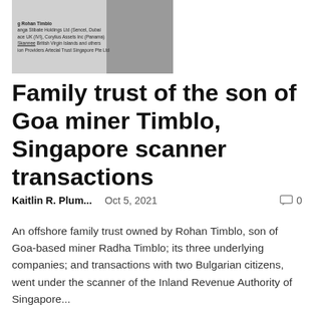[Figure (photo): Black and white image of Rohan Timblo with overlaid text showing names of companies and entities including Goa Stibate Holdings Ltd (Sencel, Dubai), Stibate UK (IVI), Corylius Assets Inc (Panama), British Virgin Islands and others, and Artecial Trust Singapore Pte Ltd]
Family trust of the son of Goa miner Timblo, Singapore scanner transactions
Kaitlin R. Plum...    Oct 5, 2021    0
An offshore family trust owned by Rohan Timblo, son of Goa-based miner Radha Timblo; its three underlying companies; and transactions with two Bulgarian citizens, went under the scanner of the Inland Revenue Authority of Singapore...